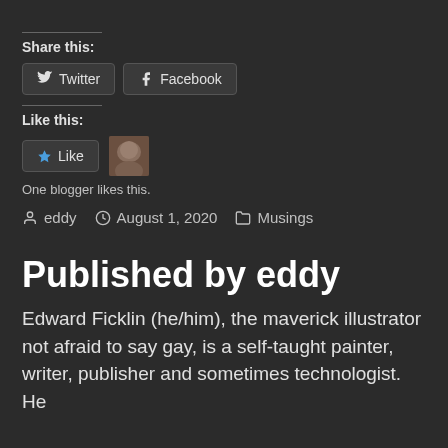Share this:
[Figure (other): Twitter and Facebook share buttons]
Like this:
[Figure (other): Like button with star icon and a blogger avatar thumbnail]
One blogger likes this.
eddy  August 1, 2020  Musings
Published by eddy
Edward Ficklin (he/him), the maverick illustrator not afraid to say gay, is a self-taught painter, writer, publisher and sometimes technologist. He